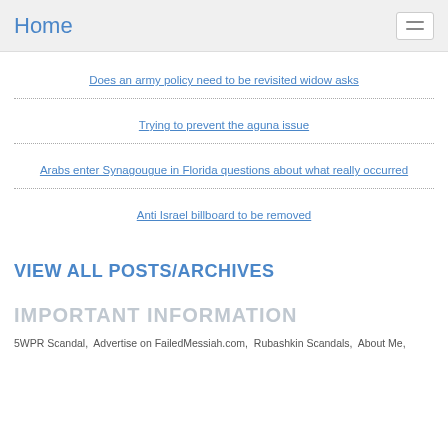Home
Does an army policy need to be revisited widow asks
Trying to prevent the aguna issue
Arabs enter Synagougue in Florida questions about what really occurred
Anti Israel billboard to be removed
VIEW ALL POSTS/ARCHIVES
IMPORTANT INFORMATION
5WPR Scandal,  Advertise on FailedMessiah.com,  Rubashkin Scandals,  About Me,